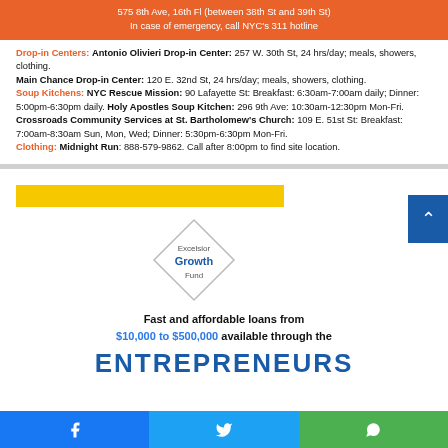575 8th Ave, 16th Fl (between 38th St and 39th St) In case of emergency, call NYC's 311 hotline
Drop-in Centers: Antonio Olivieri Drop-in Center: 257 W. 30th St, 24 hrs/day; meals, showers, clothing. Main Chance Drop-in Center: 120 E. 32nd St, 24 hrs/day; meals, showers, clothing. Soup Kitchens: NYC Rescue Mission: 90 Lafayette St: Breakfast: 6:30am-7:00am daily; Dinner: 5:00pm-6:30pm daily. Holy Apostles Soup Kitchen: 296 9th Ave: 10:30am-12:30pm Mon-Fri. Crossroads Community Services at St. Bartholomew's Church: 109 E. 51st St: Breakfast: 7:00am-8:30am Sun, Mon, Wed; Dinner: 5:30pm-6:30pm Mon-Fri. Clothing: Midnight Run: 888-579-9862. Call after 8:00pm to find site location.
[Figure (logo): Yellow horizontal bar above Excelsior Growth Fund diamond logo]
Fast and affordable loans from $10,000 to $500,000 available through the
ENTREPRENEURS